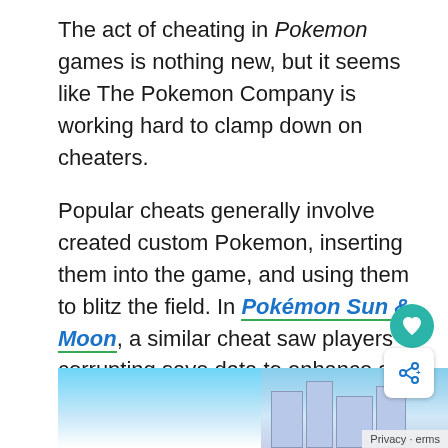The act of cheating in Pokemon games is nothing new, but it seems like The Pokemon Company is working hard to clamp down on cheaters.
Popular cheats generally involve created custom Pokemon, inserting them into the game, and using them to blitz the field. In Pokémon Sun & Moon, a similar cheat saw players corrupting save data to enhance stats and therefore improve the performance of certain Pokemon.
[Figure (photo): Bottom portion of a screenshot showing a blue sky scene on the left and a city/building scene on the right, partially visible]